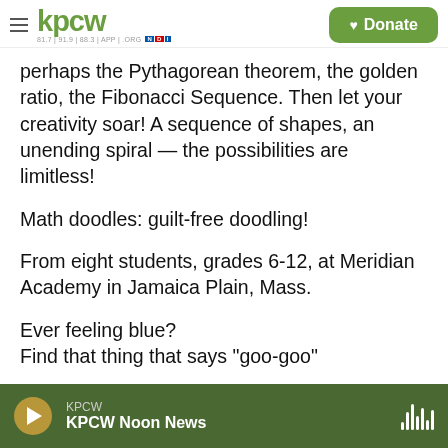KPCW — Donate
perhaps the Pythagorean theorem, the golden ratio, the Fibonacci Sequence. Then let your creativity soar! A sequence of shapes, an unending spiral — the possibilities are limitless!
Math doodles: guilt-free doodling!
From eight students, grades 6-12, at Meridian Academy in Jamaica Plain, Mass.
Ever feeling blue?
Find that thing that says "goo-goo"
Ever got the lows?
KPCW — KPCW Noon News